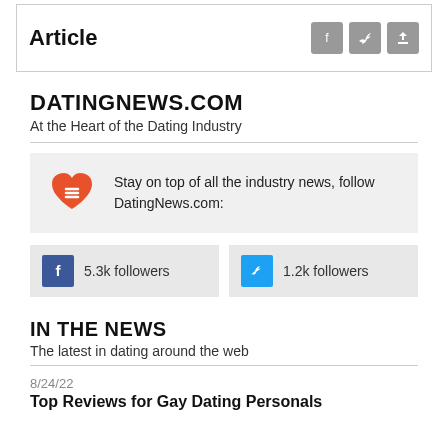Article
DATINGNEWS.COM
At the Heart of the Dating Industry
Stay on top of all the industry news, follow DatingNews.com:
5.3k followers
1.2k followers
IN THE NEWS
The latest in dating around the web
8/24/22
Top Reviews for Gay Dating Personals